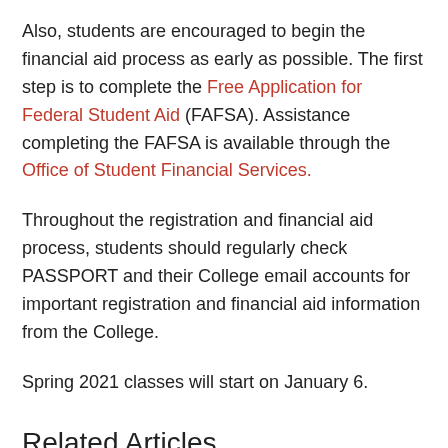Also, students are encouraged to begin the financial aid process as early as possible. The first step is to complete the Free Application for Federal Student Aid (FAFSA). Assistance completing the FAFSA is available through the Office of Student Financial Services.
Throughout the registration and financial aid process, students should regularly check PASSPORT and their College email accounts for important registration and financial aid information from the College.
Spring 2021 classes will start on January 6.
Related Articles